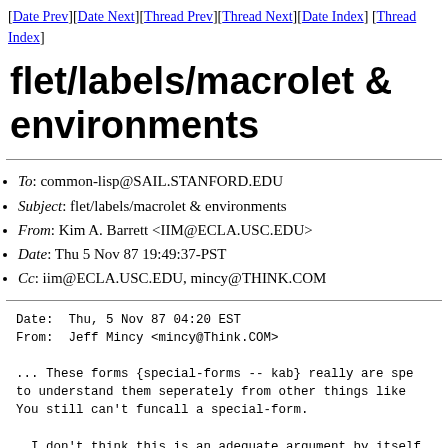[Date Prev][Date Next][Thread Prev][Thread Next][Date Index][Thread Index]
flet/labels/macrolet & environments
To: common-lisp@SAIL.STANFORD.EDU
Subject: flet/labels/macrolet & environments
From: Kim A. Barrett <IIM@ECLA.USC.EDU>
Date: Thu 5 Nov 87 19:49:37-PST
Cc: iim@ECLA.USC.EDU, mincy@THINK.COM
Date:  Thu, 5 Nov 87 04:20 EST
From:  Jeff Mincy <mincy@Think.COM>

... These forms {special-forms -- kab} really are spe
to understand them seperately from other things like
You still can't funcall a special-form.

  I don't think this is an adequate argument by itself.
have peculiar syntax, which has to be learned on a case b
the recasting from utility.If one wants to...